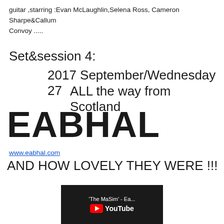guitar ,starring :Evan McLaughlin,Selena Ross, Cameron Sharpe&Callum Convoy .....
Set&session 4:
2017 September/Wednesday 27
ALL the way from Scotland
EABHAL
www.eabhal.com
AND HOW LOVELY THEY WERE !!!
[Figure (screenshot): YouTube video thumbnail showing ''The MaSim' - Ea...' with YouTube logo on dark background]